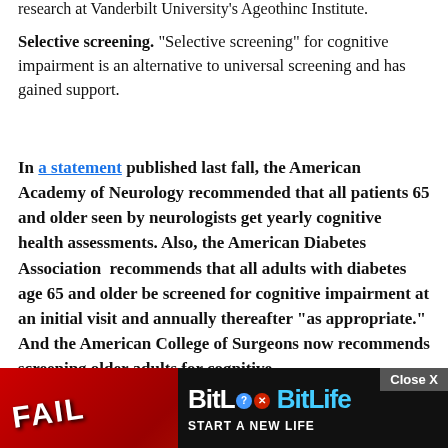research at Vanderbilt University's Ageothinc Institute.
Selective screening. "Selective screening" for cognitive impairment is an alternative to universal screening and has gained support.
In a statement published last fall, the American Academy of Neurology recommended that all patients 65 and older seen by neurologists get yearly cognitive health assessments. Also, the American Diabetes Association recommends that all adults with diabetes age 65 and older be screened for cognitive impairment at an initial visit and annually thereafter "as appropriate." And the American College of Surgeons now recommends screening older adults for cognitive impairment…
[Figure (screenshot): BitLife mobile game advertisement with 'FAIL' text, animated cartoon character, and 'START A NEW LIFE' tagline on red background. Close X button visible at top right.]